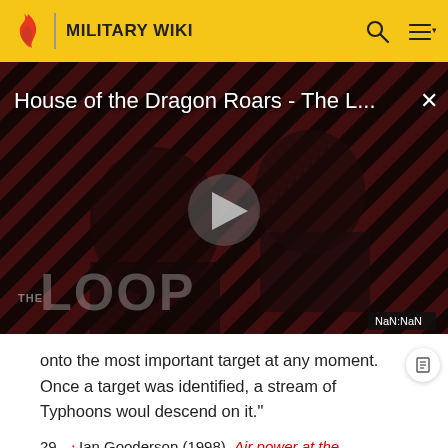MILITARY WIKI
[Figure (screenshot): Video thumbnail for 'House of the Dragon Roars - The L...' on The Loop, with a play button overlay, striped background, and NaN:NaN timestamp]
onto the most important target at any moment. Once a target was identified, a stream of Typhoons woul descend on it."
29. ↑ Ian Gooderson (1998). Air power at the battlefront. Taylor & Francis. p. 29. ISBN 978-0-7146-4211-6.